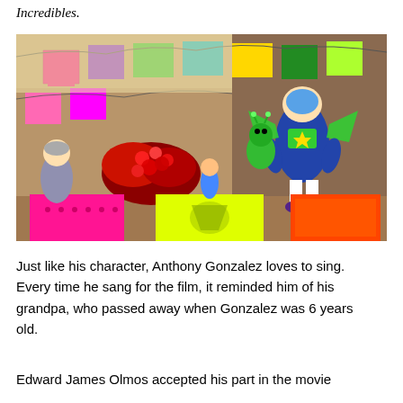Incredibles.
[Figure (photo): A colorful animated scene from the movie Coco showing decorative papel picado banners in bright colors (pink, yellow, green, blue, purple), animated characters including what appears to be Buzz Lightyear-like figures on a street market setting with red flowers and vibrant decorations.]
Just like his character, Anthony Gonzalez loves to sing. Every time he sang for the film, it reminded him of his grandpa, who passed away when Gonzalez was 6 years old.
Edward James Olmos accepted his part in the movie